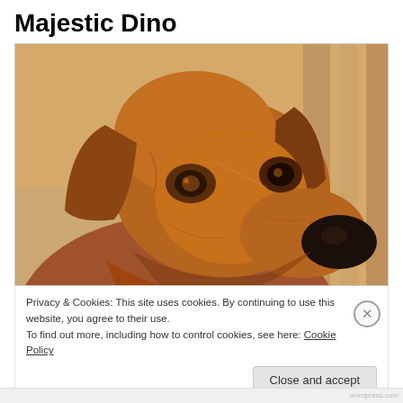Majestic Dino
[Figure (photo): Close-up photo of a Rhodesian Ridgeback dog with reddish-brown fur, droopy ears, and a black nose, looking slightly to the right against a blurred background.]
Privacy & Cookies: This site uses cookies. By continuing to use this website, you agree to their use.
To find out more, including how to control cookies, see here: Cookie Policy
Close and accept